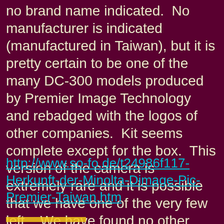no brand name indicated.  No manufacturer is indicated (manufactured in Taiwan), but it is pretty certain to be one of the many DC-300 models produced by Premier Image Technology and rebadged with the logos of other companies.  Kit seems complete except for the box.  This version of the camera is extremely rare and it is possible that we have one of the very few left.   We have found no other photo on the Internet than the one of the camera we have.  We believe we are the first digital camera history web site to provide a photo and information concerning this camera.
http://www.so-fo.de/t24986f117-Herkunft-der-Minolta-Dimage-Pic-Premier-Taiwan.htm